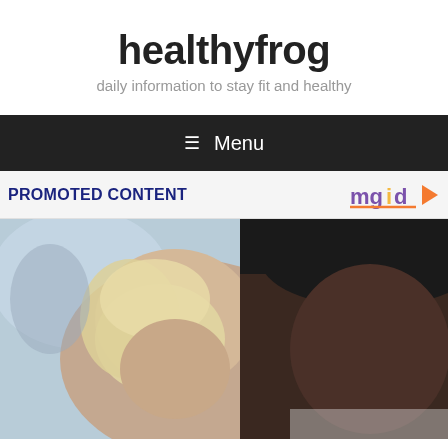healthyfrog
daily information to stay fit and healthy
≡ Menu
PROMOTED CONTENT
[Figure (photo): Close-up photo of two people: a blonde woman in the foreground and a dark-skinned man wearing a black cap in the background/right side]